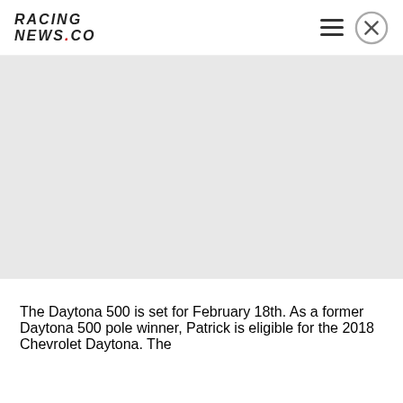RACING NEWS.CO
[Figure (photo): Large image placeholder area with light gray background, likely a racing photo]
The Daytona 500 is set for February 18th. As a former Daytona 500 pole winner, Patrick is eligible for the 2018 Chevrolet Daytona. The